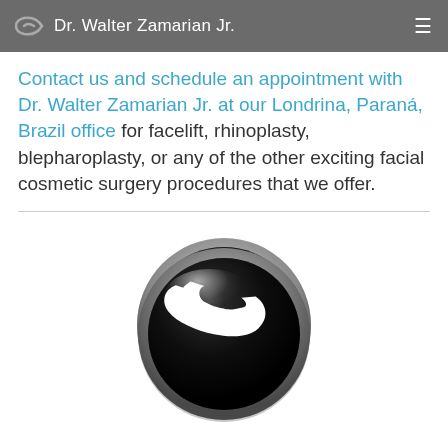Dr. Walter Zamarian Jr.
Contact us and schedule an appointment with Dr. Walter Zamarian Jr. at our Londrina, Paraná, Brazil office for facelift, rhinoplasty, blepharoplasty, or any of the other exciting facial cosmetic surgery procedures that we offer.
[Figure (illustration): A shiny black and silver 3D phone call button icon with a white telephone handset symbol in the center, on a white background.]